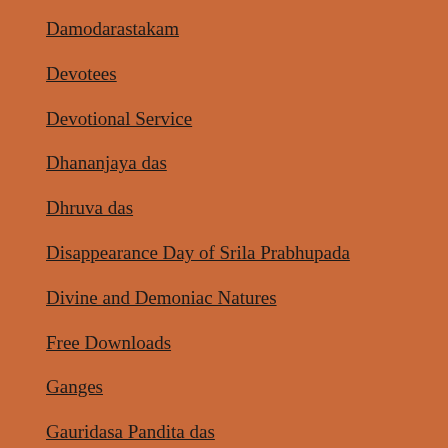Damodarastakam
Devotees
Devotional Service
Dhananjaya das
Dhruva das
Disappearance Day of Srila Prabhupada
Divine and Demoniac Natures
Free Downloads
Ganges
Gauridasa Pandita das
George Harrison
Gita Jayanti
Govinda